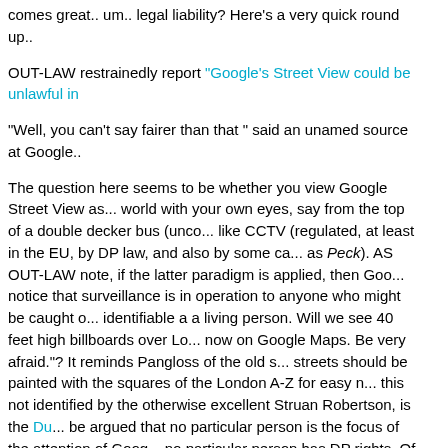comes great.. um.. legal liability? Here's a very quick round up..
OUT-LAW restrainedly report "Google's Street View could be unlawful in..."
"Well, you can't say fairer than that " said an unamed source at Google...
The question here seems to be whether you view Google Street View as... world with your own eyes, say from the top of a double decker bus (unco... like CCTV (regulated, at least in the EU, by DP law, and also by some ca... as Peck). AS OUT-LAW note, if the latter paradigm is applied, then Goo... notice that surveillance is in operation to anyone who might be caught o... identifiable a a living person. Will we see 40 feet high billboards over Lo... now on Google Maps. Be very afraid."? It reminds Pangloss of the old s... streets should be painted with the squares of the London A-Z for easy n... this not identified by the otherwise excellent Struan Robertson, is the Du... be argued that no particular person is the focus of the attention of Goog... no particular person has DP rights. Of course, Durant may not last forev...
More seriously, Google's privacy practice is apparently worse than Micr... at least according to the much respected Privacy International, who surv... businesses. Results:
Privacy-friendly and privacy-enhancing. Nobody...
Generally privacy aware: BBC, Ebay, last.fm, LiveJournal, Wikipedia...